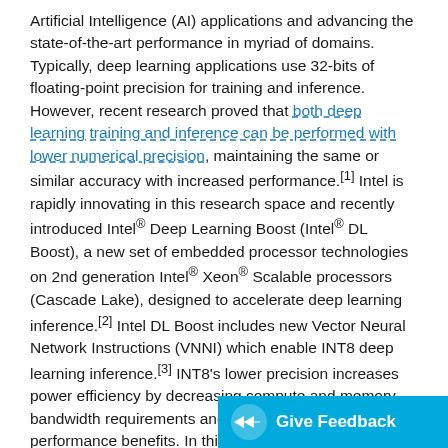Artificial Intelligence (AI) applications and advancing the state-of-the-art performance in myriad of domains. Typically, deep learning applications use 32-bits of floating-point precision for training and inference. However, recent research proved that both deep learning training and inference can be performed with lower numerical precision, maintaining the same or similar accuracy with increased performance.[1] Intel is rapidly innovating in this research space and recently introduced Intel® Deep Learning Boost (Intel® DL Boost), a new set of embedded processor technologies on 2nd generation Intel® Xeon® Scalable processors (Cascade Lake), designed to accelerate deep learning inference.[2] Intel DL Boost includes new Vector Neural Network Instructions (VNNI) which enable INT8 deep learning inference.[3] INT8's lower precision increases power efficiency by decreasing compute and memory bandwidth requirements and produces significant performance benefits. In this blog, we performance boost with INT8 precisio
[Figure (other): Give Feedback button overlay in cyan/blue at bottom right corner with arrow icon]